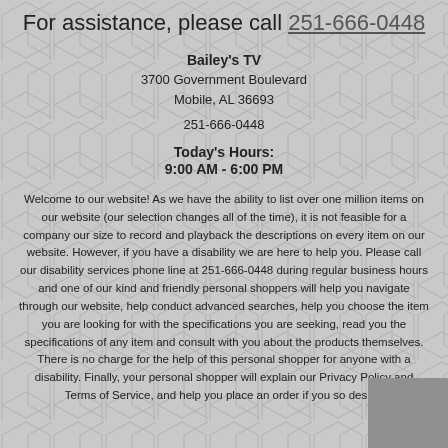For assistance, please call 251-666-0448
Bailey's TV
3700 Government Boulevard
Mobile, AL 36693
251-666-0448
Today's Hours:
9:00 AM - 6:00 PM
Welcome to our website! As we have the ability to list over one million items on our website (our selection changes all of the time), it is not feasible for a company our size to record and playback the descriptions on every item on our website. However, if you have a disability we are here to help you. Please call our disability services phone line at 251-666-0448 during regular business hours and one of our kind and friendly personal shoppers will help you navigate through our website, help conduct advanced searches, help you choose the item you are looking for with the specifications you are seeking, read you the specifications of any item and consult with you about the products themselves. There is no charge for the help of this personal shopper for anyone with a disability. Finally, your personal shopper will explain our Privacy Policy and Terms of Service, and help you place an order if you so desire.